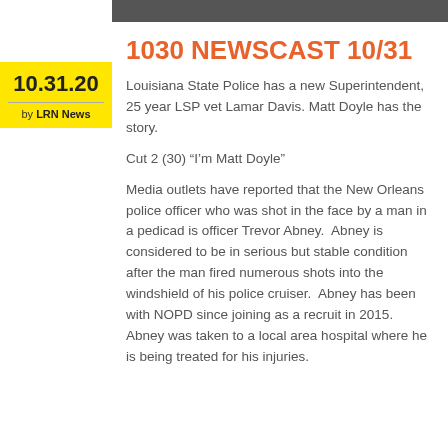10.31.20
by LRN News
1030 NEWSCAST 10/31
Louisiana State Police has a new Superintendent, 25 year LSP vet Lamar Davis. Matt Doyle has the story.
Cut 2 (30) “I’m Matt Doyle”
Media outlets have reported that the New Orleans police officer who was shot in the face by a man in a pedicad is officer Trevor Abney.  Abney is considered to be in serious but stable condition after the man fired numerous shots into the windshield of his police cruiser.  Abney has been with NOPD since joining as a recruit in 2015. Abney was taken to a local area hospital where he is being treated for his injuries.